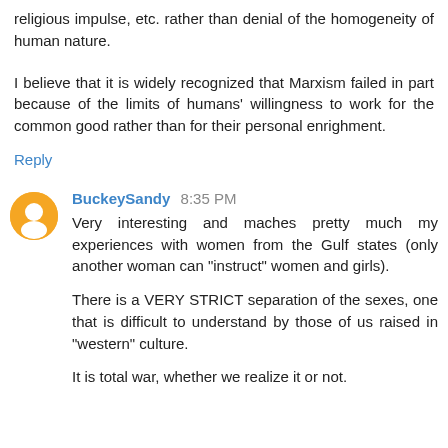religious impulse, etc. rather than denial of the homogeneity of human nature.
I believe that it is widely recognized that Marxism failed in part because of the limits of humans' willingness to work for the common good rather than for their personal enrighment.
Reply
BuckeySandy 8:35 PM
Very interesting and maches pretty much my experiences with women from the Gulf states (only another woman can "instruct" women and girls).
There is a VERY STRICT separation of the sexes, one that is difficult to understand by those of us raised in "western" culture.
It is total war, whether we realize it or not.